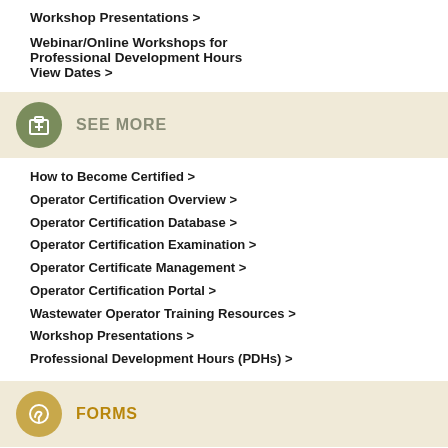Workshop Presentations >
Webinar/Online Workshops for Professional Development Hours View Dates >
SEE MORE
How to Become Certified >
Operator Certification Overview >
Operator Certification Database >
Operator Certification Examination >
Operator Certificate Management >
Operator Certification Portal >
Wastewater Operator Training Resources >
Workshop Presentations >
Professional Development Hours (PDHs) >
FORMS